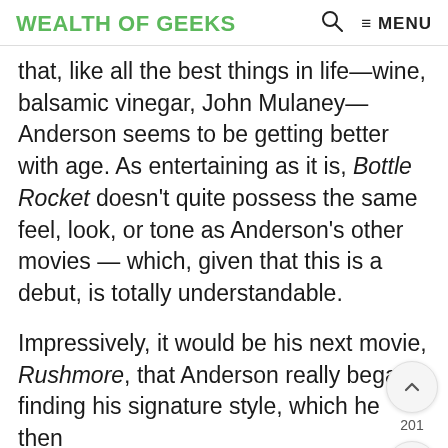WEALTH OF GEEKS    🔍    ≡ MENU
that, like all the best things in life—wine, balsamic vinegar, John Mulaney— Anderson seems to be getting better with age. As entertaining as it is, Bottle Rocket doesn't quite possess the same feel, look, or tone as Anderson's other movies — which, given that this is a debut, is totally understandable.
Impressively, it would be his next movie, Rushmore, that Anderson really began finding his signature style, which he then cemented with The Royal Tenenbaums — however, from Bottle Rocket's camera